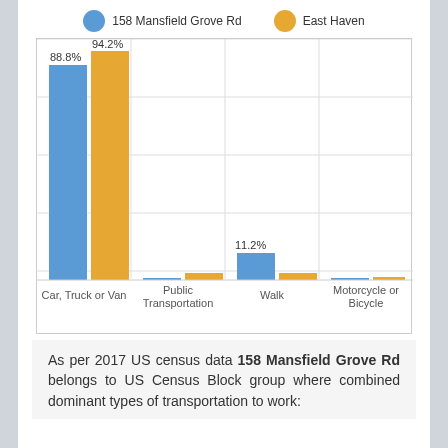[Figure (grouped-bar-chart): Transportation to Work]
As per 2017 US census data 158 Mansfield Grove Rd belongs to US Census Block group where combined dominant types of transportation to work: